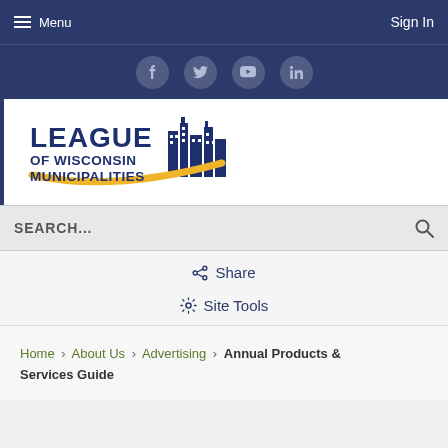Menu  |  Sign In
[Figure (other): Social media icons bar with Facebook, Twitter, YouTube, LinkedIn circle buttons on dark blue background]
[Figure (logo): League of Wisconsin Municipalities logo with city skyline silhouette and gold arc]
SEARCH...
Share
Site Tools
Home › About Us › Advertising › Annual Products & Services Guide